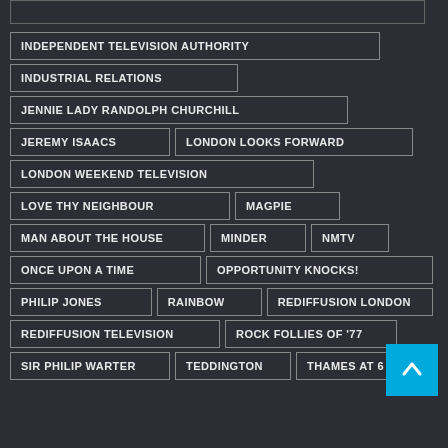INDEPENDENT TELEVISION AUTHORITY
INDUSTRIAL RELATIONS
JENNIE LADY RANDOLPH CHURCHILL
JEREMY ISAACS
LONDON LOOKS FORWARD
LONDON WEEKEND TELEVISION
LOVE THY NEIGHBOUR
MAGPIE
MAN ABOUT THE HOUSE
MINDER
NMTV
ONCE UPON A TIME
OPPORTUNITY KNOCKS!
PHILIP JONES
RAINBOW
REDIFFUSION LONDON
REDIFFUSION TELEVISION
ROCK FOLLIES OF '77
SIR PHILIP WARTER
TEDDINGTON
THAMES AT 6